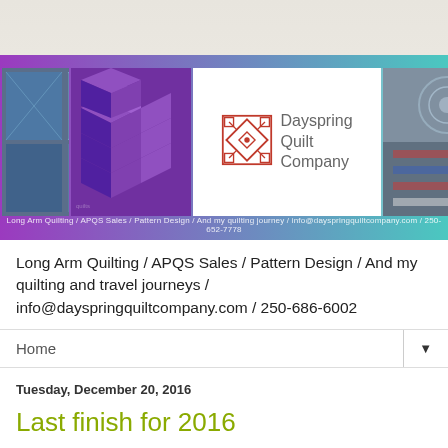[Figure (illustration): Website banner for Dayspring Quilt Company with purple-to-teal gradient background, quilt photos on left and right, and centered logo with red geometric quilt pattern icon and company name. Tagline reads: Long Arm Quilting / APQS Sales / Pattern Design / And my quilting journey / info@dayspringquiltcompany.com / 250-652-7778]
Long Arm Quilting / APQS Sales / Pattern Design / And my quilting and travel journeys / info@dayspringquiltcompany.com / 250-686-6002
Home
Tuesday, December 20, 2016
Last finish for 2016